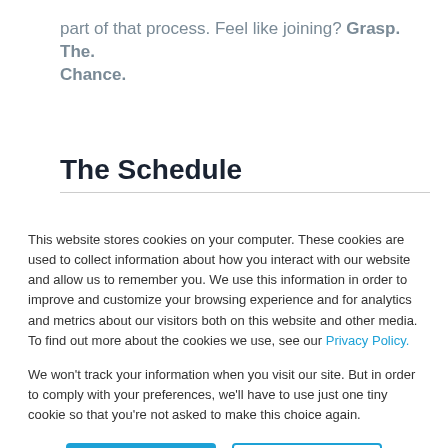part of that process. Feel like joining? Grasp. The. Chance.
The Schedule
This website stores cookies on your computer. These cookies are used to collect information about how you interact with our website and allow us to remember you. We use this information in order to improve and customize your browsing experience and for analytics and metrics about our visitors both on this website and other media. To find out more about the cookies we use, see our Privacy Policy.
We won't track your information when you visit our site. But in order to comply with your preferences, we'll have to use just one tiny cookie so that you're not asked to make this choice again.